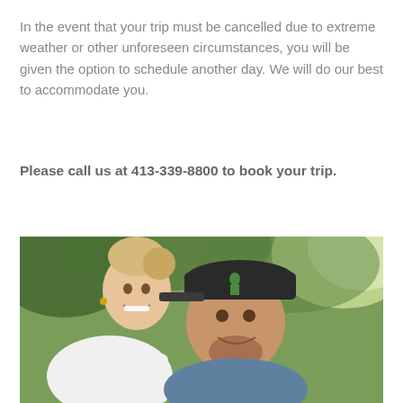In the event that your trip must be cancelled due to extreme weather or other unforeseen circumstances, you will be given the option to schedule another day. We will do our best to accommodate you.
Please call us at 413-339-8800 to book your trip.
[Figure (photo): Outdoor photo of two smiling people — a woman with light hair on the left and a man wearing a dark baseball cap on the right — in front of green foliage with sunlight.]